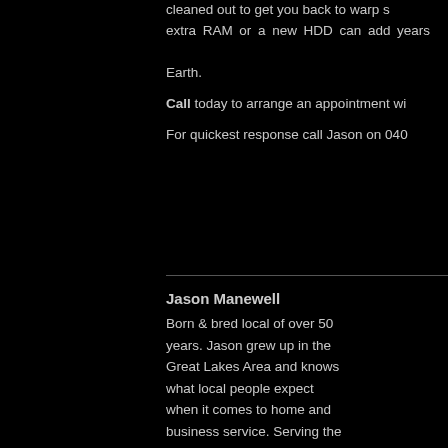cleaned out to get you back to warp speed. extra RAM or a new HDD can add years to Earth.
Call today to arrange an appointment wi...
For quickest response call Jason on 040...
Jason Manewell
Born & bred local of over 50 years. Jason grew up in the Great Lakes Area and knows what local people expect when it comes to home and business service. Serving the Great Lakes since 2000.
Troubleshooting
Virus Removal
Spy/Adware Remo...
PC Troubleshooting...
Laptop Troubleshoo...
In-home or Busines...